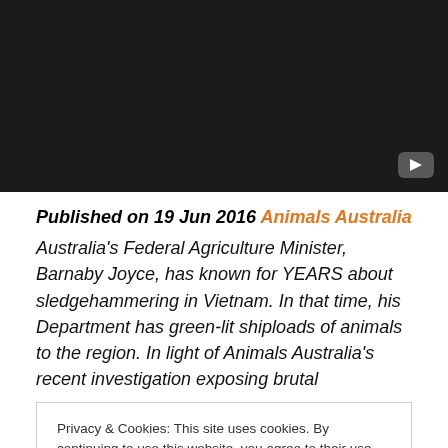[Figure (screenshot): Dark video thumbnail with a play button in the bottom right corner]
Published on 19 Jun 2016 Animals Australia
Australia's Federal Agriculture Minister, Barnaby Joyce, has known for YEARS about sledgehammering in Vietnam. In that time, his Department has green-lit shiploads of animals to the region. In light of Animals Australia's recent investigation exposing brutal
Privacy & Cookies: This site uses cookies. By continuing to use this website, you agree to their use.
To find out more, including how to control cookies, see here: Cookie Policy
Close and accept
https://www.facebook.com/BarnabyJoyceMR/